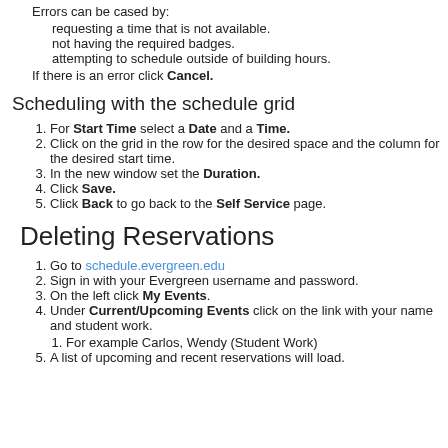Errors can be cased by:
requesting a time that is not available.
not having the required badges.
attempting to schedule outside of building hours.
If there is an error click Cancel.
Scheduling with the schedule grid
For Start Time select a Date and a Time.
Click on the grid in the row for the desired space and the column for the desired start time.
In the new window set the Duration.
Click Save.
Click Back to go back to the Self Service page.
Deleting Reservations
Go to schedule.evergreen.edu
Sign in with your Evergreen username and password.
On the left click My Events.
Under Current/Upcoming Events click on the link with your name and student work.
For example Carlos, Wendy (Student Work)
A list of upcoming and recent reservations will load.